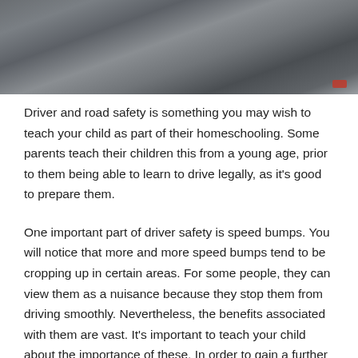[Figure (photo): Interior view of a car dashboard and steering wheel area, dark grey tones]
Driver and road safety is something you may wish to teach your child as part of their homeschooling. Some parents teach their children this from a young age, prior to them being able to learn to drive legally, as it's good to prepare them.
One important part of driver safety is speed bumps. You will notice that more and more speed bumps tend to be cropping up in certain areas. For some people, they can view them as a nuisance because they stop them from driving smoothly. Nevertheless, the benefits associated with them are vast. It's important to teach your child about the importance of these. In order to gain a further insight, take a look at the benefits associated with a speed bump…
Safety is increased and lives can be saved…